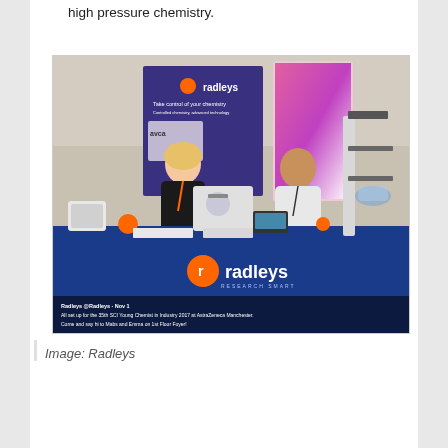high pressure chemistry.
[Figure (photo): Radleys exhibition stand at the 35th SCI Young Chemist in Industry 2017 at AstraZeneca Manchester. Two people (Mabs and Emma) stand behind a blue-draped table covered with laboratory chemistry equipment. A Radleys banner and logo are visible. A social media post caption reads: 'Radleys @Radleys · Nov 1. All set up for the 35th SCI Young Chemist in Industry 2017 at AstraZeneca Manchester. Come and say hi to Mabs and Emma on 1st Floor Foyer!']
Image: Radleys